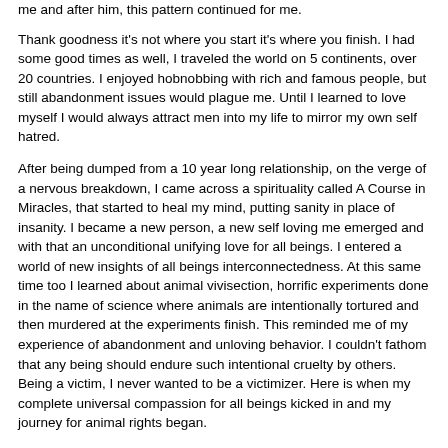me and after him, this pattern continued for me.
Thank goodness it's not where you start it's where you finish. I had some good times as well, I traveled the world on 5 continents, over 20 countries. I enjoyed hobnobbing with rich and famous people, but still abandonment issues would plague me. Until I learned to love myself I would always attract men into my life to mirror my own self hatred.
After being dumped from a 10 year long relationship, on the verge of a nervous breakdown, I came across a spirituality called A Course in Miracles, that started to heal my mind, putting sanity in place of insanity. I became a new person, a new self loving me emerged and with that an unconditional unifying love for all beings. I entered a world of new insights of all beings interconnectedness. At this same time too I learned about animal vivisection, horrific experiments done in the name of science where animals are intentionally tortured and then murdered at the experiments finish. This reminded me of my experience of abandonment and unloving behavior. I couldn't fathom that any being should endure such intentional cruelty by others. Being a victim, I never wanted to be a victimizer. Here is when my complete universal compassion for all beings kicked in and my journey for animal rights began.
It's not where you start it's where you finish. I also learned about the horrors of the most rampant form of animal abuse, the indoctrinated teaching by society to eat animals and their secretions such as dairy and eggs. I reminisce that no being should live in domination of another mate, parent, friend or society.
Being vegan now for the last 8 years and no longer a victim of anyone, I strive to make known that all beings should be liberated from the domination of man's cruel and evil ways. As a vegan educator explaining what happens in the animal agriculture industry can be heartbreaking for me. Life for these animals from their raped induced birth to their brutal murder on the slaughterhouse kill floor is like watching a horror film only knowing that it is real gruesomeness and not a Hollywood movie production. As a civilian non violence specialist, a lover of all